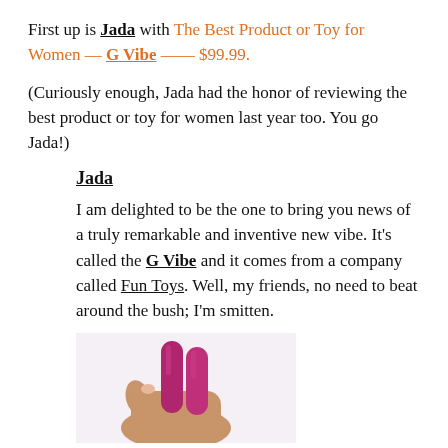First up is Jada with The Best Product or Toy for Women — G Vibe —— $99.99.
(Curiously enough, Jada had the honor of reviewing the best product or toy for women last year too. You go Jada!)
Jada
I am delighted to be the one to bring you news of a truly remarkable and inventive new vibe. It's called the G Vibe and it comes from a company called Fun Toys. Well, my friends, no need to beat around the bush; I'm smitten.
[Figure (photo): A hand holding two magenta/purple vibrator devices side by side against a white background.]